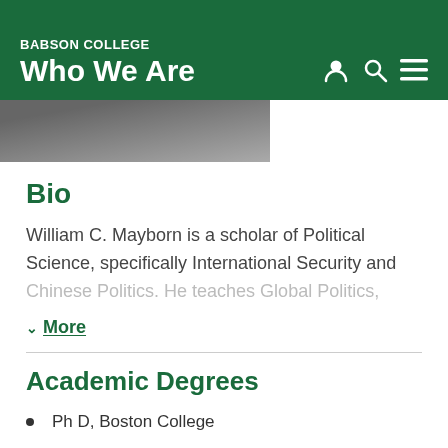BABSON COLLEGE
Who We Are
[Figure (photo): Partial photo of a person in a gray suit, cropped at top]
Bio
William C. Mayborn is a scholar of Political Science, specifically International Security and Chinese Politics. He teaches Global Politics,
More
Academic Degrees
Ph D, Boston College
MPIA, Texas A&M University